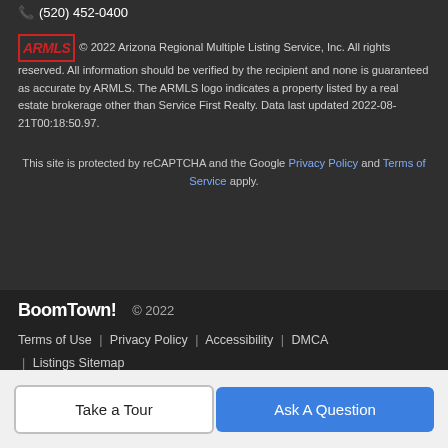(520) 452-0400
© 2022 Arizona Regional Multiple Listing Service, Inc. All rights reserved. All information should be verified by the recipient and none is guaranteed as accurate by ARMLS. The ARMLS logo indicates a property listed by a real estate brokerage other than Service First Realty. Data last updated 2022-08-21T00:18:50.97.
This site is protected by reCAPTCHA and the Google Privacy Policy and Terms of Service apply.
BoomTown! © 2022 Terms of Use | Privacy Policy | Accessibility | DMCA | Listings Sitemap
Take a Tour
Ask A Question